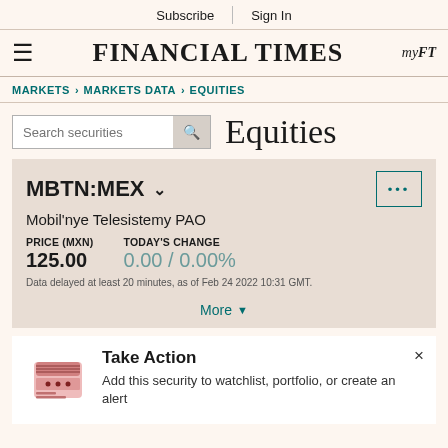Subscribe | Sign In
FINANCIAL TIMES
MARKETS > MARKETS DATA > EQUITIES
Search securities | Equities
MBTN:MEX
Mobil'nye Telesistemy PAO
| PRICE (MXN) | TODAY'S CHANGE |
| --- | --- |
| 125.00 | 0.00 / 0.00% |
Data delayed at least 20 minutes, as of Feb 24 2022 10:31 GMT.
More ▼
Take Action
Add this security to watchlist, portfolio, or create an alert